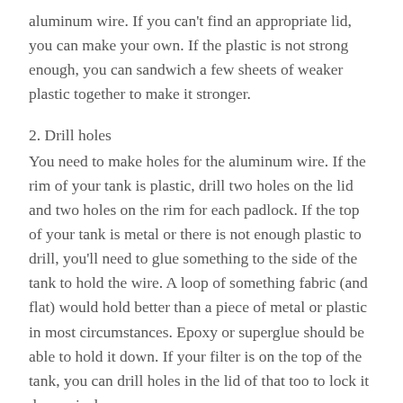aluminum wire. If you can't find an appropriate lid, you can make your own. If the plastic is not strong enough, you can sandwich a few sheets of weaker plastic together to make it stronger.
2. Drill holes
You need to make holes for the aluminum wire. If the rim of your tank is plastic, drill two holes on the lid and two holes on the rim for each padlock. If the top of your tank is metal or there is not enough plastic to drill, you'll need to glue something to the side of the tank to hold the wire. A loop of something fabric (and flat) would hold better than a piece of metal or plastic in most circumstances. Epoxy or superglue should be able to hold it down. If your filter is on the top of the tank, you can drill holes in the lid of that too to lock it down nicely.